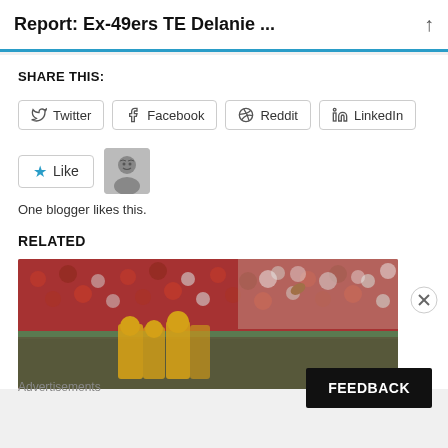Report: Ex-49ers TE Delanie ...
SHARE THIS:
Twitter  Facebook  Reddit  LinkedIn
Like   One blogger likes this.
RELATED
[Figure (photo): Football game scene with players and crowd in red and white team colors]
Advertisements
FEEDBACK